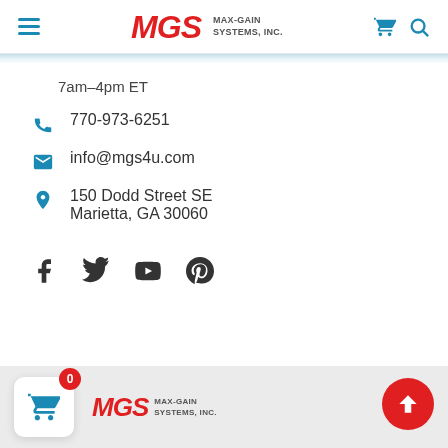MGS MAX-GAIN SYSTEMS, INC.
7am–4pm ET
770-973-6251
info@mgs4u.com
150 Dodd Street SE
Marietta, GA 30060
[Figure (logo): Social media icons: Facebook, Twitter, YouTube, Pinterest]
MGS MAX-GAIN SYSTEMS, INC. — Cart (0 items) — Scroll to top